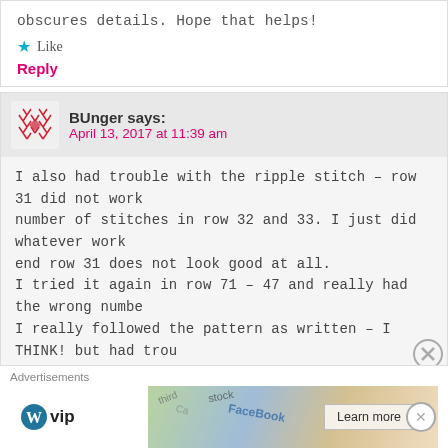obscures details. Hope that helps!
Like
Reply
BUnger says:
April 13, 2017 at 11:39 am
I also had trouble with the ripple stitch – row 31 did not work number of stitches in row 32 and 33. I just did whatever work end row 31 does not look good at all.
I tried it again in row 71 – 47 and really had the wrong numbe I really followed the pattern as written – I THINK! but had trou
Like
Reply
Advertisements